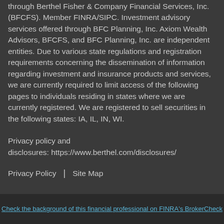Registered Representative of and securities offered through Berthel Fisher & Company Financial Services, Inc. (BFCFS). Member FINRA/SIPC. Investment advisory services offered through BFC Planning, Inc. Axiom Wealth Advisors, BFCFS, and BFC Planning, Inc. are independent entities. Due to various state regulations and registration requirements concerning the dissemination of information regarding investment and insurance products and services, we are currently required to limit access of the following pages to individuals residing in states where we are currently registered. We are registered to sell securities in the following states: IA, IL, IN, WI.
Privacy policy and disclosures: https://www.berthel.com/disclosures/
Privacy Policy | Site Map
Check the background of this financial professional on FINRA's BrokerCheck